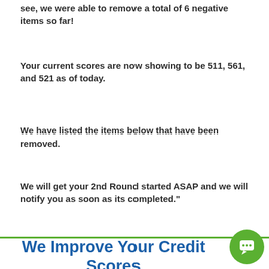see, we were able to remove a total of 6 negative items so far!
Your current scores are now showing to be 511, 561, and 521 as of today.
We have listed the items below that have been removed.
We will get your 2nd Round started ASAP and we will notify you as soon as its completed."
We Improve Your Credit Scores